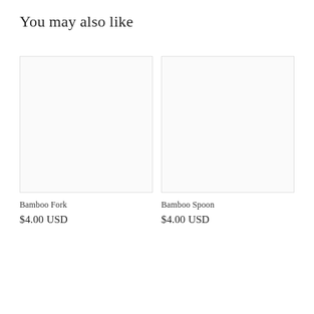You may also like
[Figure (photo): Bamboo Fork product image placeholder (blank white box with light border)]
Bamboo Fork
$4.00 USD
[Figure (photo): Bamboo Spoon product image placeholder (blank white box with light border)]
Bamboo Spoon
$4.00 USD